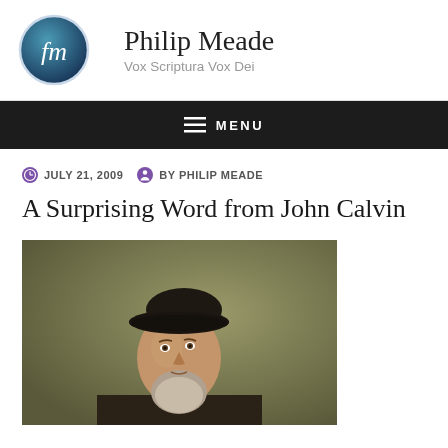[Figure (logo): Philip Meade blog logo: circular gradient badge with 'pm' script initials in teal/blue, followed by site name and tagline]
Philip Meade
Vox Scriptura Vox Dei
MENU
JULY 21, 2009  BY PHILIP MEADE
A Surprising Word from John Calvin
[Figure (photo): Portrait painting of John Calvin, showing him from the shoulders up, wearing a black beret-style hat and dark clothing, with a grey beard, depicted against a muted olive/brown background]